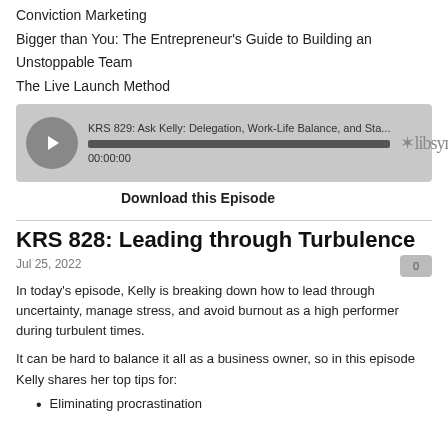Conviction Marketing
Bigger than You: The Entrepreneur's Guide to Building an Unstoppable Team
The Live Launch Method
[Figure (screenshot): Libsyn podcast player widget showing episode KRS 829: Ask Kelly: Delegation, Work-Life Balance, and Sta... with play button, progress bar, and 00:00:00 timestamp]
Download this Episode
KRS 828: Leading through Turbulence
Jul 25, 2022
In today's episode, Kelly is breaking down how to lead through uncertainty, manage stress, and avoid burnout as a high performer during turbulent times.
It can be hard to balance it all as a business owner, so in this episode Kelly shares her top tips for:
Eliminating procrastination